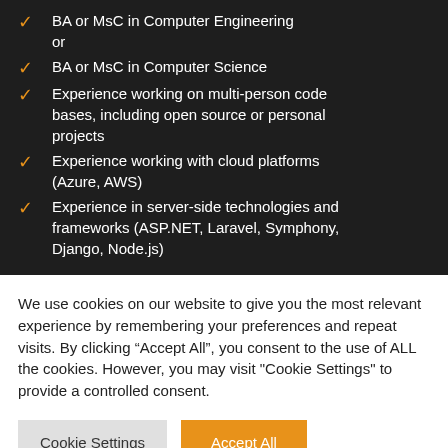BA or MsC in Computer Engineering or
BA or MsC in Computer Science
Experience working on multi-person code bases, including open source or personal projects
Experience working with cloud platforms (Azure, AWS)
Experience in server-side technologies and frameworks (ASP.NET, Laravel, Symphony, Django, Node.js)
We use cookies on our website to give you the most relevant experience by remembering your preferences and repeat visits. By clicking “Accept All”, you consent to the use of ALL the cookies. However, you may visit "Cookie Settings" to provide a controlled consent.